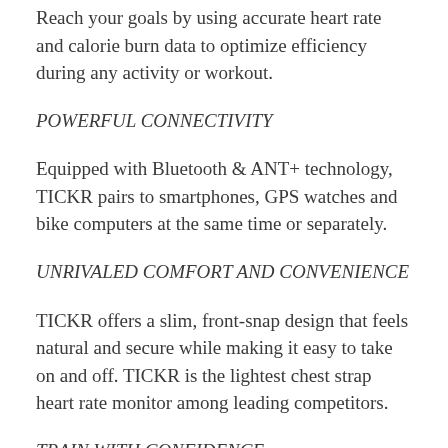Reach your goals by using accurate heart rate and calorie burn data to optimize efficiency during any activity or workout.
POWERFUL CONNECTIVITY
Equipped with Bluetooth & ANT+ technology, TICKR pairs to smartphones, GPS watches and bike computers at the same time or separately.
UNRIVALED COMFORT AND CONVENIENCE
TICKR offers a slim, front-snap design that feels natural and secure while making it easy to take on and off. TICKR is the lightest chest strap heart rate monitor among leading competitors.
TRAIN WITH CONFIDENCE